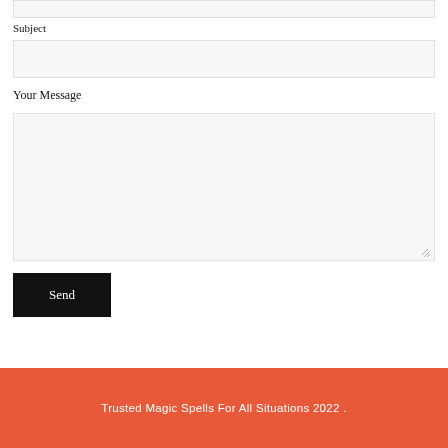Subject
Your Message
Send
Trusted Magic Spells For All Situations 2022 .